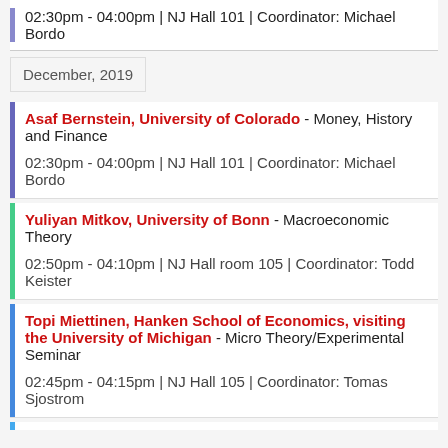02:30pm - 04:00pm | NJ Hall 101 | Coordinator: Michael Bordo
December, 2019
Asaf Bernstein, University of Colorado - Money, History and Finance
02:30pm - 04:00pm | NJ Hall 101 | Coordinator: Michael Bordo
Yuliyan Mitkov, University of Bonn - Macroeconomic Theory
02:50pm - 04:10pm | NJ Hall room 105 | Coordinator: Todd Keister
Topi Miettinen, Hanken School of Economics, visiting the University of Michigan - Micro Theory/Experimental Seminar
02:45pm - 04:15pm | NJ Hall 105 | Coordinator: Tomas Sjostrom